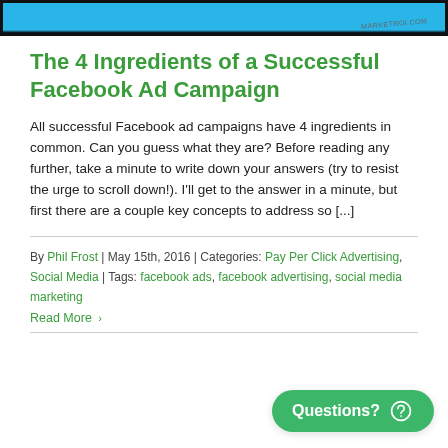[Figure (screenshot): Top portion of a webpage screenshot showing a blue background with a watermark/label reading 'MARKETROI.COM' in the bottom right]
The 4 Ingredients of a Successful Facebook Ad Campaign
All successful Facebook ad campaigns have 4 ingredients in common. Can you guess what they are? Before reading any further, take a minute to write down your answers (try to resist the urge to scroll down!). I'll get to the answer in a minute, but first there are a couple key concepts to address so [...]
By Phil Frost | May 15th, 2016 | Categories: Pay Per Click Advertising, Social Media | Tags: facebook ads, facebook advertising, social media marketing
Read More >